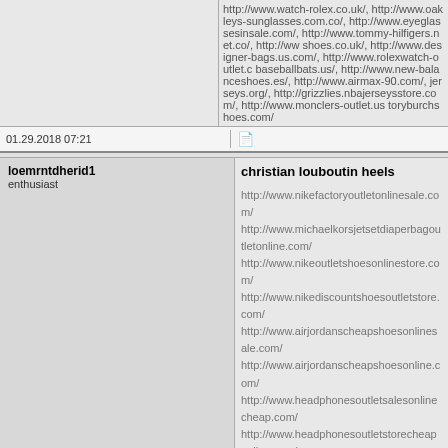http://www.watch-rolex.co.uk/, http://www.oakleys-sunglasses.com.co/, http://www.eyeglassesinsale.com/, http://www.tommy-hilfigers.net.co/, http://www.shoes.co.uk/, http://www.designer-bags.us.com/, http://www.rolexwatch-outlet.c... baseballbats.us/, http://www.new-balanceshoes.es/, http://www.airmax-90.com/, jerseys.org/, http://grizzlies.nbajerseysstore.com/, http://www.monclers-outlet.us toryburchshoes.com/
01.29.2018 07:21
loemrntdherid1
enthusiast
christian louboutin heels

http://www.nikefactoryoutletonlinesale.com/
http://www.michaelkorsjetsetdiaperbagoutletonline.com/
http://www.nikeoutletshoesonlinestore.com/
http://www.nikediscountshoesoutletstore.com/
http://www.airjordanscheapshoesonlinesale.com/
http://www.airjordanscheapshoesonline.com/
http://www.headphonesoutletsalesonlinecheap.com/
http://www.headphonesoutletstorecheaponline.com/
http://www.louboutinshoesoutletonlinestore.com/
http://www.redbottomshoeschristianlouboutinstore.com/
http://www.nikeshoesfactoryoutletssale.com/
http://www.nikeshoesfactorystoreonline.com/
http://www.christianlouboutinfactorystore.co.uk/
http://www.saltmalt.co.uk/
07.24.2018 07:36